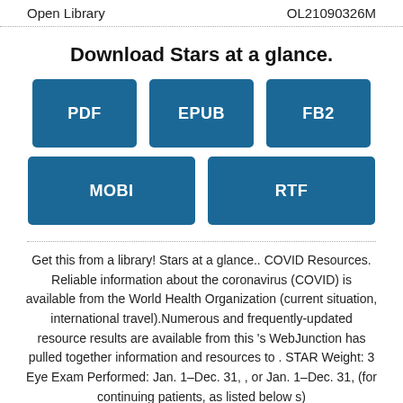Open Library   OL21090326M
Download Stars at a glance.
[Figure (other): Download buttons for PDF, EPUB, FB2, MOBI, RTF formats]
Get this from a library! Stars at a glance.. COVID Resources. Reliable information about the coronavirus (COVID) is available from the World Health Organization (current situation, international travel).Numerous and frequently-updated resource results are available from this 's WebJunction has pulled together information and resources to . STAR Weight: 3 Eye Exam Performed: Jan. 1–Dec. 31, , or Jan. 1–Dec. 31, (for continuing patients, as listed below s)